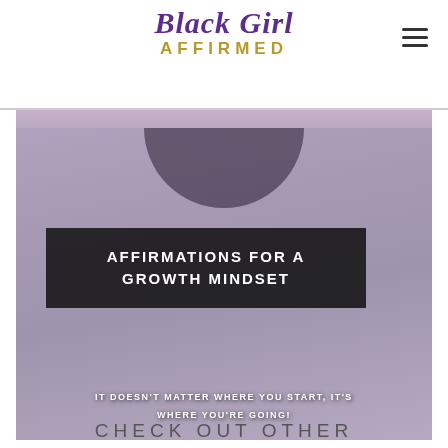Black Girl AFFIRMED
[Figure (photo): Video thumbnail showing a Black woman with a dark overlay box containing the text 'AFFIRMATIONS FOR A GROWTH MINDSET' and a subtitle 'IT DOESN'T MATTER WHERE YOU START, IT'S WHERE YOU'RE GOING!']
CHECK OUT OTHER